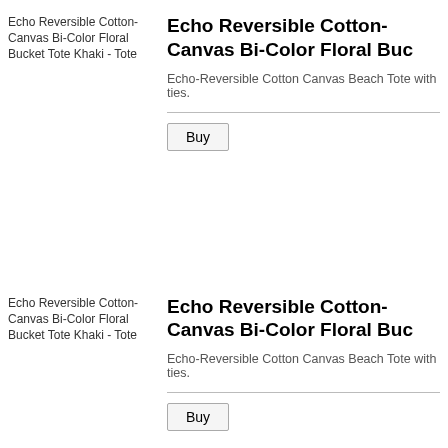[Figure (photo): Echo Reversible Cotton-Canvas Bi-Color Floral Bucket Tote Khaki - Tote product image placeholder]
Echo Reversible Cotton-Canvas Bi-Color Floral Buc...
Echo-Reversible Cotton Canvas Beach Tote with ties.
Buy
[Figure (photo): Echo Reversible Cotton-Canvas Bi-Color Floral Bucket Tote product image placeholder (second listing)]
Echo Reversible Cotton-Canvas Bi-Color Floral Buc...
Echo-Reversible Cotton Canvas Beach Tote with ties.
Buy